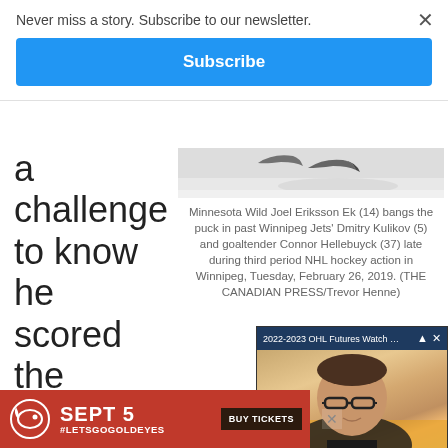Never miss a story. Subscribe to our newsletter.
Subscribe
a challenge to know he scored the game-winning goal d
[Figure (photo): Hockey player skates on ice rink, partial view at top of image]
Minnesota Wild Joel Eriksson Ek (14) bangs the puck in past Winnipeg Jets' Dmitry Kulikov (5) and goaltender Connor Hellebuyck (37) late during third period NHL hockey action in Winnipeg, Tuesday, February 26, 2019. (THE CANADIAN PRESS/Trevor Henne)
[Figure (screenshot): Video popup overlay showing '2022-2023 OHL Futures Watch - Hamilt...' with a man speaking on camera, mute button visible]
Both those examinat
Minne
rema
[Figure (other): Red advertisement banner: SEPT 5 #LETSGOGOLDEYES BUY TICKETS with Goldeyes logo]